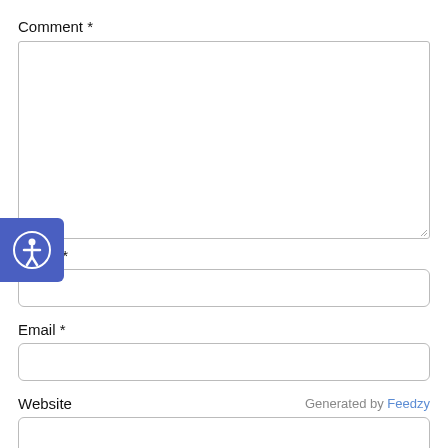Comment *
[Figure (screenshot): Empty textarea input box for comment field with resize handle at bottom right]
[Figure (illustration): Accessibility icon button: blue rounded rectangle with white person-in-circle accessibility symbol]
Name *
[Figure (screenshot): Empty single-line text input box for Name field]
Email *
[Figure (screenshot): Empty single-line text input box for Email field]
Website
Generated by Feedzy
[Figure (screenshot): Partial empty single-line text input box for Website field, cut off at bottom of page]